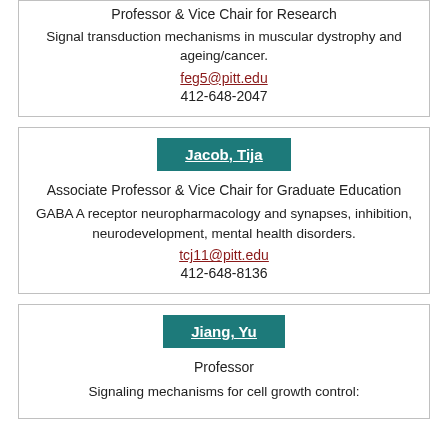Professor & Vice Chair for Research
Signal transduction mechanisms in muscular dystrophy and ageing/cancer.
feg5@pitt.edu
412-648-2047
Jacob, Tija
Associate Professor & Vice Chair for Graduate Education
GABA A receptor neuropharmacology and synapses, inhibition, neurodevelopment, mental health disorders.
tcj11@pitt.edu
412-648-8136
Jiang, Yu
Professor
Signaling mechanisms for cell growth control: